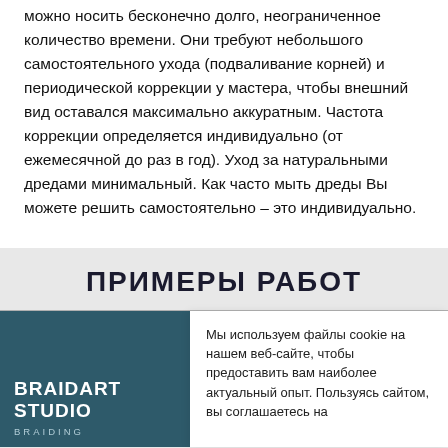можно носить бесконечно долго, неограниченное количество времени. Они требуют небольшого самостоятельного ухода (подваливание корней) и периодической коррекции у мастера, чтобы внешний вид оставался максимально аккуратным. Частота коррекции определяется индивидуально (от ежемесячной до раз в год). Уход за натуральными дредами минимальный. Как часто мыть дреды Вы можете решить самостоятельно – это индивидуально.
ПРИМЕРЫ РАБОТ
[Figure (logo): BRAIDART STUDIO logo on dark teal background]
Мы используем файлы cookie на нашем веб-сайте, чтобы предоставить вам наиболее актуальный опыт. Пользуясь сайтом, вы соглашаетесь на